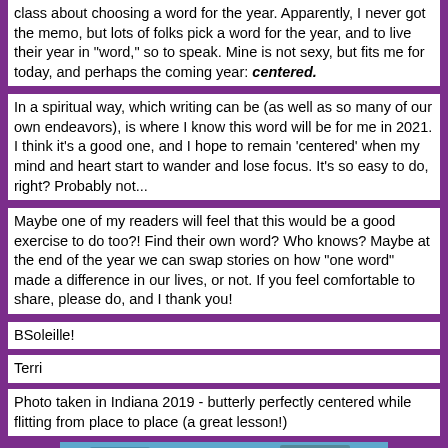class about choosing a word for the year. Apparently, I never got the memo, but lots of folks pick a word for the year, and to live their year in "word," so to speak. Mine is not sexy, but fits me for today, and perhaps the coming year: centered.
In a spiritual way, which writing can be (as well as so many of our own endeavors), is where I know this word will be for me in 2021. I think it's a good one, and I hope to remain 'centered' when my mind and heart start to wander and lose focus. It's so easy to do, right? Probably not...
Maybe one of my readers will feel that this would be a good exercise to do too?! Find their own word? Who knows? Maybe at the end of the year we can swap stories on how "one word" made a difference in our lives, or not. If you feel comfortable to share, please do, and I thank you!
BSoleille!
Terri
Photo taken in Indiana 2019 - butterly perfectly centered while flitting from place to place (a great lesson!)
[Figure (photo): Partial view of a photo showing a nature scene, partially visible at bottom of page]